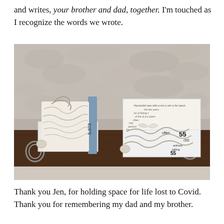and writes, your brother and dad, together. I'm touched as I recognize the words we wrote.
[Figure (photo): Two book sculptures made of folded newspaper/text pages, sitting on a dark wooden shelf against a stone wall. Each sculpture is housed in a white box/tray. The sculptures appear to be artistic paper-folded figures. The right sculpture has visible handwritten numbers '55' and '7/8/20' on some of the paper strips.]
Thank you Jen, for holding space for life lost to Covid.
Thank you for remembering my dad and my brother.